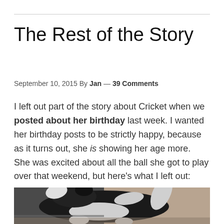The Rest of the Story
September 10, 2015 By Jan — 39 Comments
I left out part of the story about Cricket when we posted about her birthday last week. I wanted her birthday posts to be strictly happy, because as it turns out, she is showing her age more.  She was excited about all the ball she got to play over that weekend, but here's what I left out:
[Figure (photo): A black and white dog (likely a Husky or similar breed) photographed from above/behind, on what appears to be stairs or a floor, with a reddish-brown wall or surface visible in the background.]